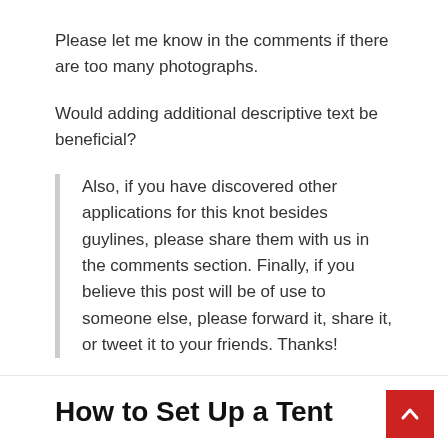Please let me know in the comments if there are too many photographs.
Would adding additional descriptive text be beneficial?
Also, if you have discovered other applications for this knot besides guylines, please share them with us in the comments section. Finally, if you believe this post will be of use to someone else, please forward it, share it, or tweet it to your friends. Thanks!
How to Set Up a Tent